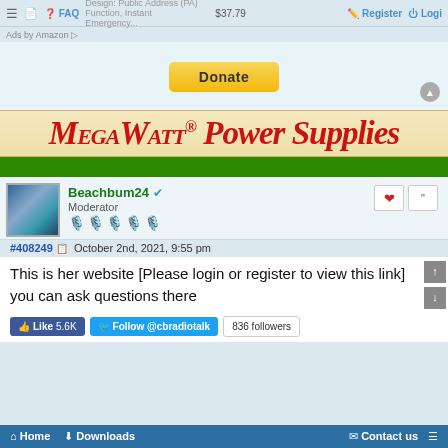Design: Public Address (PA) Function, Instant Emergency... $37.79  FAQ  Register  Login
Ads by Amazon
[Figure (other): Donate button (PayPal-style golden button)]
[Figure (logo): MegaWatt Power Supplies banner logo with red italic text on cream/tan background]
[Figure (other): Green navigation bar]
Beachbum24 ✓ Moderator
#408249  October 2nd, 2021, 9:55 pm
This is her website [Please login or register to view this link] you can ask questions there
Like 5.6K  Follow @cbradiotalk  836 followers
Home  Downloads  Contact us